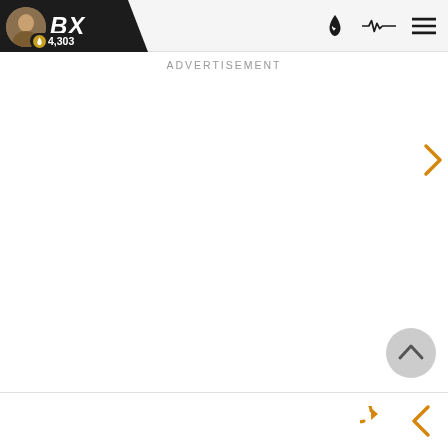BX  4,303
ADVERTISEMENT
[Figure (other): Navigation bar with BX logo, avatar, score badge showing 4,303, flame icon, pulse/EKG icon, and hamburger menu icon]
[Figure (other): Orange left-pointing chevron arrow on right side of page]
[Figure (other): Gray circular scroll-to-top button with upward chevron]
[Figure (other): Bottom bar with orange refresh icon and orange left-pointing chevron]